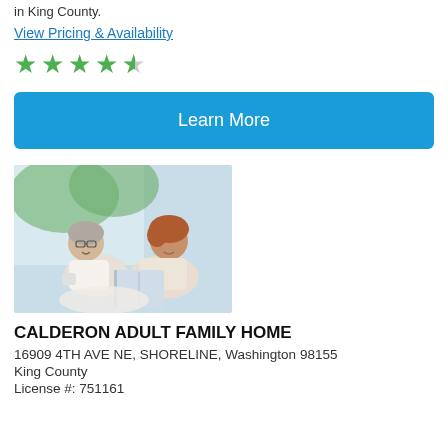in King County.
View Pricing & Availability
[Figure (other): 4.5 star rating shown with green stars]
Learn More
[Figure (photo): An elderly woman sitting with a younger caregiver who is holding a book, photographed near a window with greenery outside.]
CALDERON ADULT FAMILY HOME
16909 4TH AVE NE, SHORELINE, Washington 98155
King County
License #: 751161